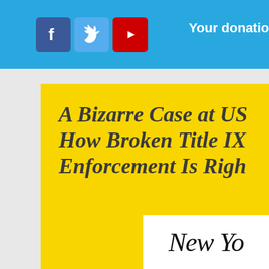[Figure (other): Navigation header bar with Facebook, Twitter, YouTube social media icons and 'Your donation' text on blue background]
A Bizarre Case at US How Broken Title IX Enforcement Is Righ
[Figure (logo): New Yorker magazine logo in italic serif font]